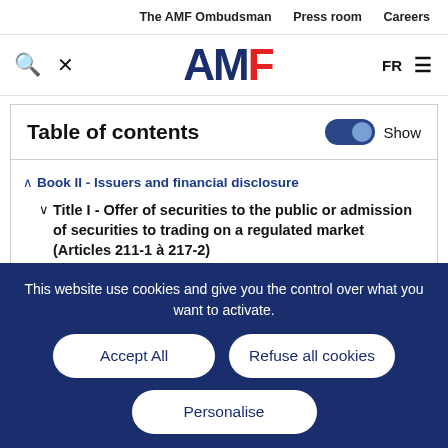The AMF Ombudsman   Press room   Careers
[Figure (logo): AMF logo with search and menu icons, FR language selector]
Table of contents
Book II - Issuers and financial disclosure
Title I - Offer of securities to the public or admission of securities to trading on a regulated market (Articles 211-1 à 217-2)
This website use cookies and give you the control over what you want to activate.
Accept All   Refuse all cookies   Personalise